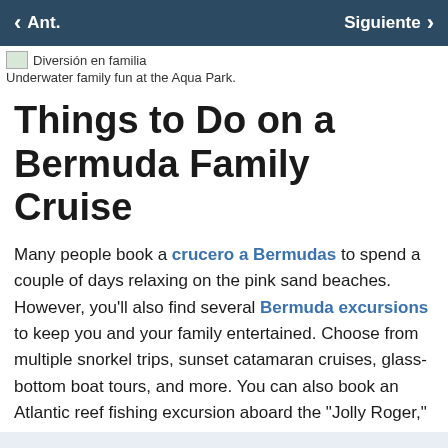< Ant.    Siguiente >
[Figure (photo): Placeholder image icon with label 'Diversión en familia']
Underwater family fun at the Aqua Park.
Things to Do on a Bermuda Family Cruise
Many people book a crucero a Bermudas to spend a couple of days relaxing on the pink sand beaches. However, you'll also find several Bermuda excursions to keep you and your family entertained. Choose from multiple snorkel trips, sunset catamaran cruises, glass-bottom boat tours, and more. You can also book an Atlantic reef fishing excursion aboard the "Jolly Roger," a 57-foot custom fishing boat.
If you have your SCUBA certification or you have wanted to try diving, you'll also find available options. Book a two-tank dive if you're certified or sign up for a Discover SCUBA course. You can experience a shallow dive in a supervised and safe environment when you book this course.